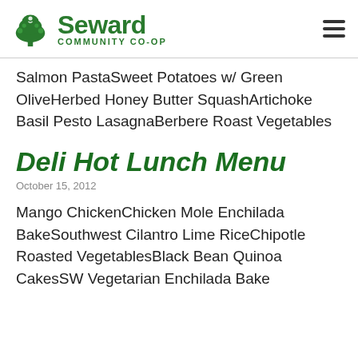Seward Community Co-op
Salmon PastaSweet Potatoes w/ Green OliveHerbed Honey Butter SquashArtichoke Basil Pesto LasagnaBerbere Roast Vegetables
Deli Hot Lunch Menu
October 15, 2012
Mango ChickenChicken Mole Enchilada BakeSouthwest Cilantro Lime RiceChipotle Roasted VegetablesBlack Bean Quinoa CakesSW Vegetarian Enchilada Bake